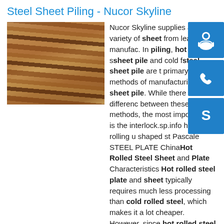Steel Sheet Piling - Nucor Skyline
[Figure (photo): Stack of steel sheet pile plates photographed at an angle, showing layered metallic surfaces in brown/rust tones]
[Figure (infographic): Three blue icon boxes on the right side: headset/support icon, phone icon, and Skype icon]
Nucor Skyline supplies a wide variety of sheet from leading manufac. In piling, hot rolled s sheet pile and cold f steel sheet pile are t primary methods of manufacturing sheet pile. While there are differenc between these two methods, the most important di is the interlock.sp.info hot rolled rolling u shaped st Pascale STEEL PLATE ChinaHot Rolled Steel Sheet and Plate Characteristics Hot rolled steel plate and sheet typically requires much less processing than cold rolled steel, which makes it a lot cheaper. However, since hot rolled steel can cool at room temperature, its free from internal stresses that can arise from quenching or work hardening processes.sp.infoHot Rolled Type Steel Sheet